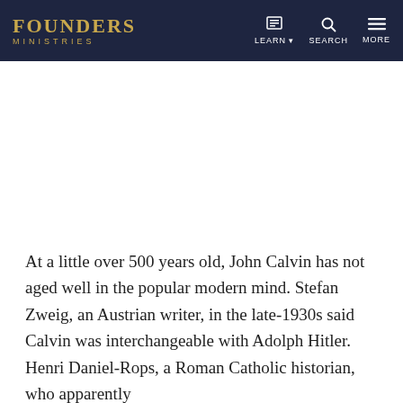FOUNDERS MINISTRIES | LEARN | SEARCH | MORE
At a little over 500 years old, John Calvin has not aged well in the popular modern mind. Stefan Zweig, an Austrian writer, in the late-1930s said Calvin was interchangeable with Adolph Hitler. Henri Daniel-Rops, a Roman Catholic historian, who apparently